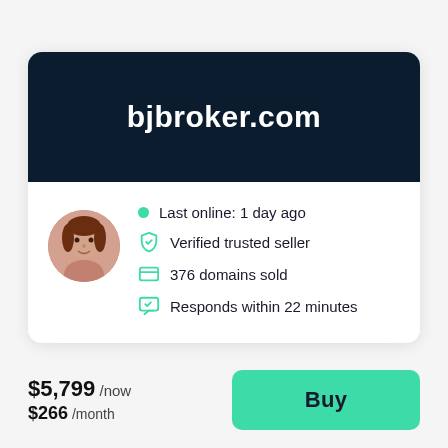bjbroker.com
[Figure (photo): Round avatar photo of a woman with brown hair]
Last online: 1 day ago
Verified trusted seller
376 domains sold
Responds within 22 minutes
$5,799 /now
$266 /month
Buy